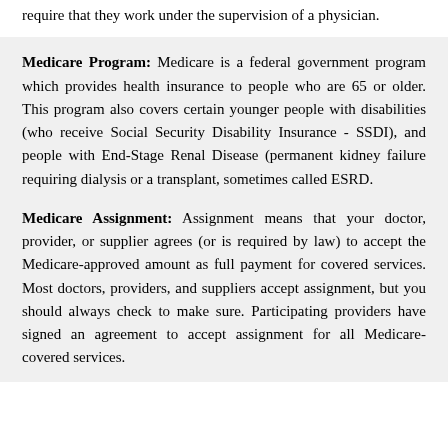require that they work under the supervision of a physician.
Medicare Program: Medicare is a federal government program which provides health insurance to people who are 65 or older. This program also covers certain younger people with disabilities (who receive Social Security Disability Insurance - SSDI), and people with End-Stage Renal Disease (permanent kidney failure requiring dialysis or a transplant, sometimes called ESRD.
Medicare Assignment: Assignment means that your doctor, provider, or supplier agrees (or is required by law) to accept the Medicare-approved amount as full payment for covered services. Most doctors, providers, and suppliers accept assignment, but you should always check to make sure. Participating providers have signed an agreement to accept assignment for all Medicare-covered services.